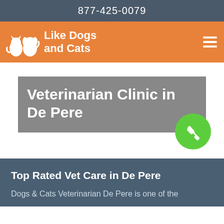877-425-0079
[Figure (logo): Like Dogs and Cats logo with silhouette of a dog and cat, orange background, white text reading 'Like Dogs and Cats', hamburger menu icon on right]
Veterinarian Clinic in De Pere
[Figure (other): Green circular phone/call button icon]
Top Rated Vet Care in De Pere
Dogs & Cats Veterinarian De Pere is one of the